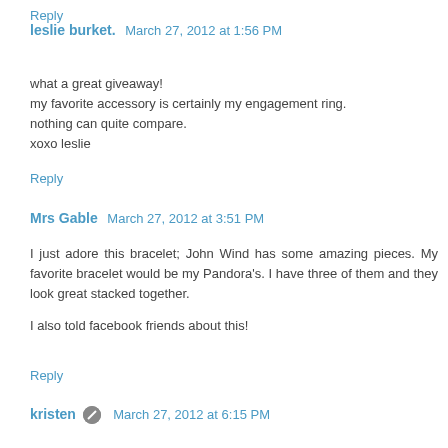Reply
leslie burket.  March 27, 2012 at 1:56 PM
what a great giveaway!
my favorite accessory is certainly my engagement ring.
nothing can quite compare.
xoxo leslie
Reply
Mrs Gable  March 27, 2012 at 3:51 PM
I just adore this bracelet; John Wind has some amazing pieces. My favorite bracelet would be my Pandora's. I have three of them and they look great stacked together.

I also told facebook friends about this!
Reply
kristen  March 27, 2012 at 6:15 PM